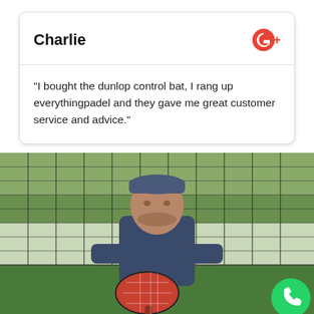Charlie
"I bought the dunlop control bat, I rang up everythingpadel and they gave me great customer service and advice."
[Figure (photo): A man standing on a padel court behind a wire fence, holding a padel racket, wearing a dark t-shirt and cap. A WhatsApp button is visible in the bottom right corner.]